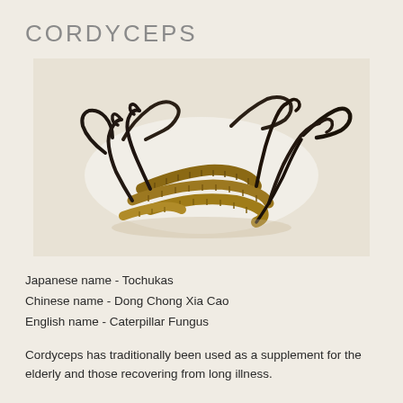CORDYCEPS
[Figure (photo): Photo of dried Cordyceps mushrooms — segmented tan-colored caterpillar bodies with dark curved fungal stalks growing from them, clustered together on a white background]
Japanese name - Tochukas
Chinese name - Dong Chong Xia Cao
English name - Caterpillar Fungus
Cordyceps has traditionally been used as a supplement for the elderly and those recovering from long illness.